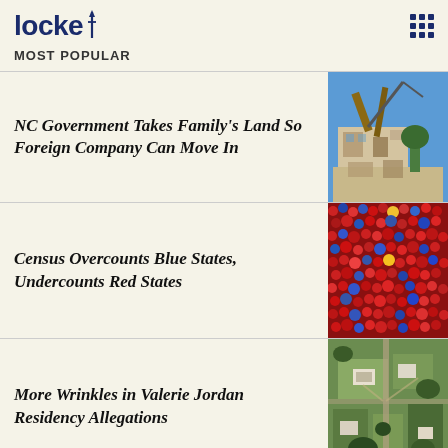locke
MOST POPULAR
NC Government Takes Family's Land So Foreign Company Can Move In
[Figure (photo): Photo of a building being demolished with construction equipment and debris]
Census Overcounts Blue States, Undercounts Red States
[Figure (photo): Aerial photo of a large crowd of people]
More Wrinkles in Valerie Jordan Residency Allegations
[Figure (photo): Satellite aerial view of a rural property with buildings and trees]